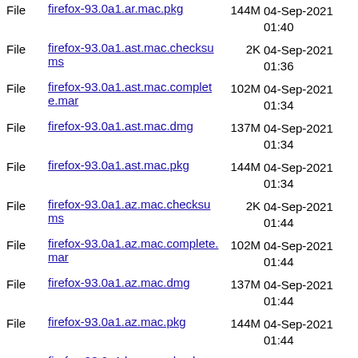File firefox-93.0a1.ar.mac.pkg 144M 04-Sep-2021 01:40
File firefox-93.0a1.ast.mac.checksums 2K 04-Sep-2021 01:36
File firefox-93.0a1.ast.mac.complete.mar 102M 04-Sep-2021 01:34
File firefox-93.0a1.ast.mac.dmg 137M 04-Sep-2021 01:34
File firefox-93.0a1.ast.mac.pkg 144M 04-Sep-2021 01:34
File firefox-93.0a1.az.mac.checksums 2K 04-Sep-2021 01:44
File firefox-93.0a1.az.mac.complete.mar 102M 04-Sep-2021 01:44
File firefox-93.0a1.az.mac.dmg 137M 04-Sep-2021 01:44
File firefox-93.0a1.az.mac.pkg 144M 04-Sep-2021 01:44
File firefox-93.0a1.be.mac.checksums 2K 04-Sep-2021 01:44
File firefox-93.0a1.be.mac.complete.mar 102M 04-Sep-2021 01:43
File firefox-93.0a1.be.mac.dmg 137M 04-Sep-2021 01:43